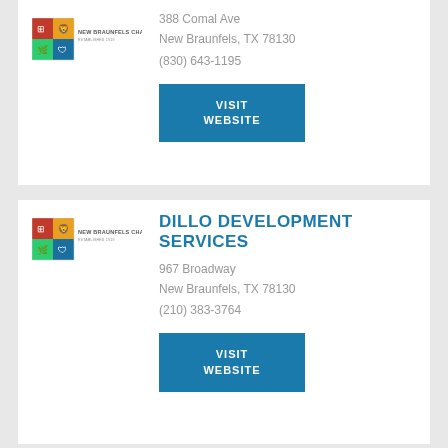[Figure (logo): New Braunfels Chamber of Commerce logo - shield with colored quadrants and text]
388 Comal Ave
New Braunfels, TX 78130
(830) 643-1195
VISIT WEBSITE
DILLO DEVELOPMENT SERVICES
[Figure (logo): New Braunfels Chamber of Commerce logo - shield with colored quadrants and text]
967 Broadway
New Braunfels, TX 78130
(210) 383-3764
VISIT WEBSITE